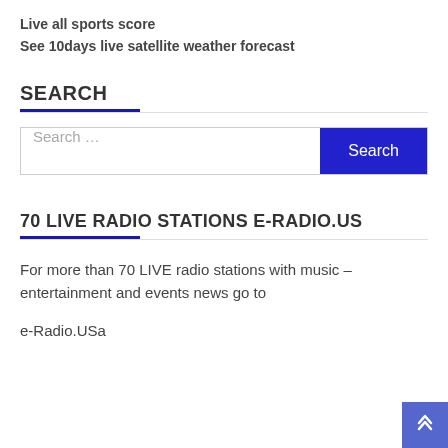Live all sports score
See 10days live satellite weather forecast
SEARCH
Search …
70 LIVE RADIO STATIONS E-RADIO.US
For more than 70 LIVE radio stations with music – entertainment and events news go to
e-Radio.USa